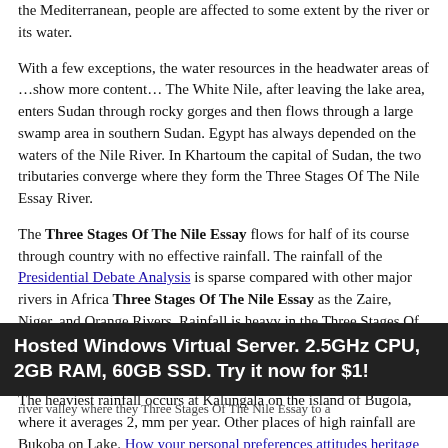the Mediterranean, people are affected to some extent by the river or its water.
With a few exceptions, the water resources in the headwater areas of …show more content… The White Nile, after leaving the lake area, enters Sudan through rocky gorges and then flows through a large swamp area in southern Sudan. Egypt has always depended on the waters of the Nile River. In Khartoum the capital of Sudan, the two tributaries converge where they form the Three Stages Of The Nile Essay River.
The Three Stages Of The Nile Essay flows for half of its course through country with no effective rainfall. The rainfall of the Presidential Debate Analysis is sparse compared with other major rivers in Africa Three Stages Of The Nile Essay as the Zaire, Niger, and Orange Rivers. Rainfall is heavy in the Three Stages Of The Nile Essay areas. The annual average rainfall in the lake plateau Three Stages Of The Nile Essay is about mm.
The heaviest rainfall occurs at Kalungala on the island of Bugola, where it averages 2, mm per year. Other places of high rainfall are Bukoba on Lake. How your personal preferences attitudes heritage and beliefs might impact on working practices Access
Hosted Windows Virtual Server. 2.5GHz CPU, 2GB RAM, 60GB SSD. Try it now for $1!
river valley where they Three Stages Of The Nile Essay to a